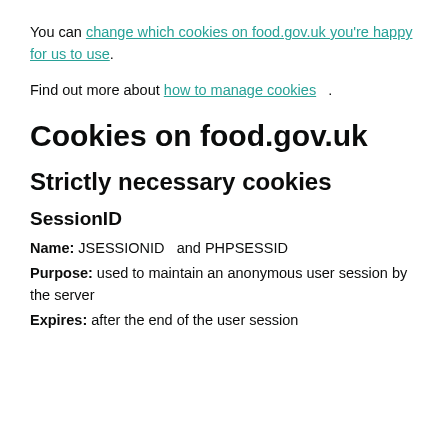You can change which cookies on food.gov.uk you're happy for us to use.
Find out more about how to manage cookies.
Cookies on food.gov.uk
Strictly necessary cookies
SessionID
Name: JSESSIONID  and PHPSESSID
Purpose: used to maintain an anonymous user session by the server
Expires: after the end of the user session